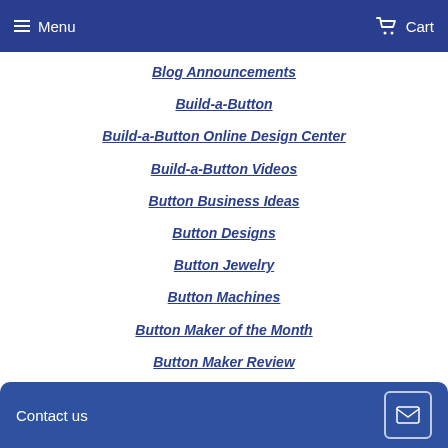Menu | Cart
Blog Announcements
Build-a-Button
Build-a-Button Online Design Center
Build-a-Button Videos
Button Business Ideas
Button Designs
Button Jewelry
Button Machines
Button Maker of the Month
Button Maker Review
Contact us